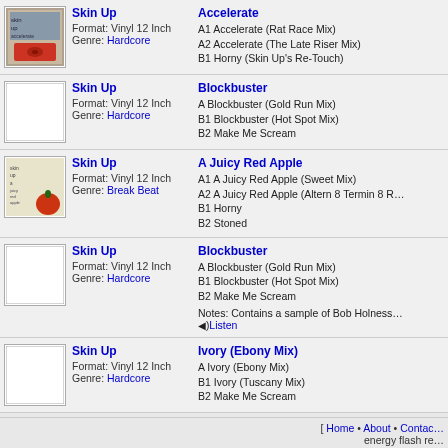Skin Up | Accelerate | Format: Vinyl 12 Inch | Genre: Hardcore | A1 Accelerate (Rat Race Mix) A2 Accelerate (The Late Riser Mix) B1 Horny (Skin Up's Re-Touch)
Skin Up | Blockbuster | Format: Vinyl 12 Inch | Genre: Hardcore | A Blockbuster (Gold Run Mix) B1 Blockbuster (Hot Spot Mix) B2 Make Me Scream
Skin Up | A Juicy Red Apple | Format: Vinyl 12 Inch | Genre: Break Beat | A1 A Juicy Red Apple (Sweet Mix) A2 A Juicy Red Apple (Altern 8 Termin 8 R... B1 Horny B2 Stoned
Skin Up | Blockbuster | Format: Vinyl 12 Inch | Genre: Hardcore | A Blockbuster (Gold Run Mix) B1 Blockbuster (Hot Spot Mix) B2 Make Me Scream | Notes: Contains a sample of Bob Holness... Listen
Skin Up | Ivory (Ebony Mix) | Format: Vinyl 12 Inch | Genre: Hardcore | A Ivory (Ebony Mix) B1 Ivory (Tuscany Mix) B2 Make Me Scream
[ Home • About • Contact energy flash re